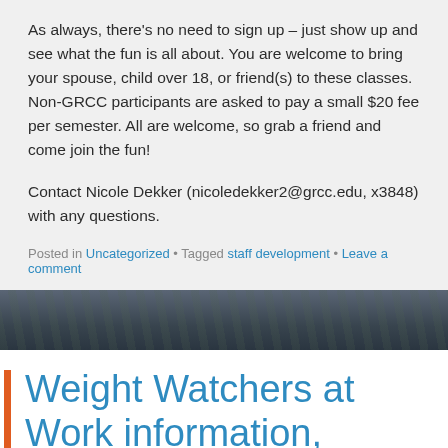As always, there's no need to sign up – just show up and see what the fun is all about. You are welcome to bring your spouse, child over 18, or friend(s) to these classes. Non-GRCC participants are asked to pay a small $20 fee per semester. All are welcome, so grab a friend and come join the fun!
Contact Nicole Dekker (nicoledekker2@grcc.edu, x3848) with any questions.
Posted in Uncategorized • Tagged staff development • Leave a comment
[Figure (photo): A dark outdoor photograph strip showing trees and structures in winter.]
Weight Watchers at Work information, registration session